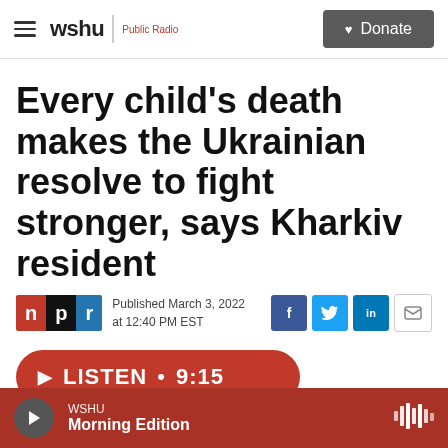wshu | Public Radio — Donate
Every child's death makes the Ukrainian resolve to fight stronger, says Kharkiv resident
Published March 3, 2022 at 12:40 PM EST
LISTEN • 9:15
WSHU Morning Edition